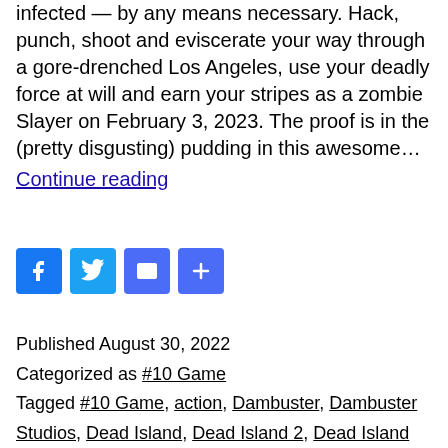infected — by any means necessary. Hack, punch, shoot and eviscerate your way through a gore-drenched Los Angeles, use your deadly force at will and earn your stripes as a zombie Slayer on February 3, 2023. The proof is in the (pretty disgusting) pudding in this awesome…
Continue reading
[Figure (other): Social share buttons: Facebook, Twitter, Email, Share (plus icon)]
Published August 30, 2022
Categorized as #10 Game
Tagged #10 Game, action, Dambuster, Dambuster Studios, Dead Island, Dead Island 2, Dead Island Riptide, DeadIsland2, Epic Games, Gore game, Hell-A, Horror